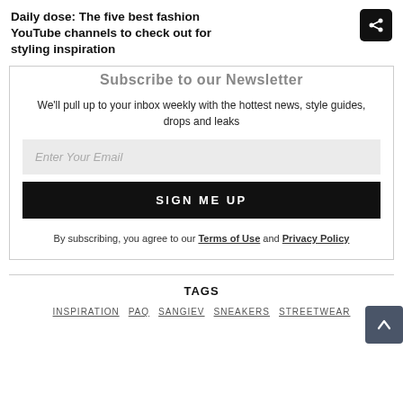Daily dose: The five best fashion YouTube channels to check out for styling inspiration
Subscribe to our Newsletter
We'll pull up to your inbox weekly with the hottest news, style guides, drops and leaks
Enter Your Email
SIGN ME UP
By subscribing, you agree to our Terms of Use and Privacy Policy
TAGS
INSPIRATION
PAQ
SANGIEV
SNEAKERS
STREETWEAR